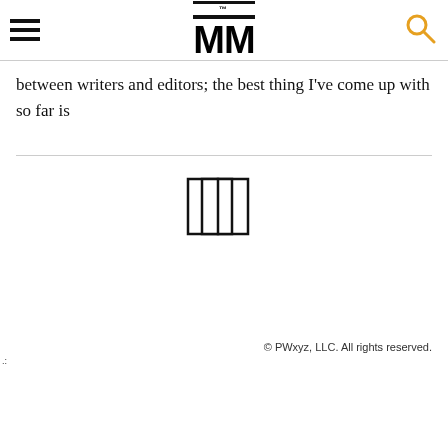MM
between writers and editors; the best thing I've come up with so far is
[Figure (logo): Book/pages icon logo — two open book panels outlined in black]
© PWxyz, LLC. All rights reserved.